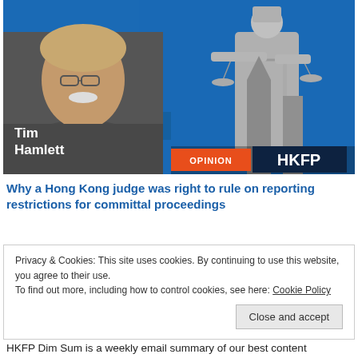[Figure (photo): Header image showing Tim Hamlett (older man with white mustache and glasses) on the left against a blue background, with a Lady Justice statue on the right. Orange 'OPINION' badge and dark 'HKFP' logo in the lower right of the image.]
Why a Hong Kong judge was right to rule on reporting restrictions for committal proceedings
Privacy & Cookies: This site uses cookies. By continuing to use this website, you agree to their use.
To find out more, including how to control cookies, see here: Cookie Policy
Close and accept
HKFP Dim Sum is a weekly email summary of our best content